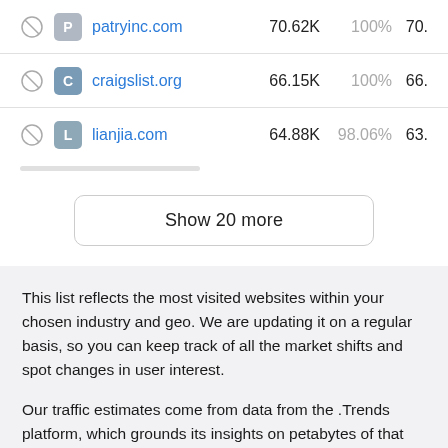|  |  | Site | Traffic | % Traffic |  |
| --- | --- | --- | --- | --- | --- |
|  | P | patryinc.com | 70.62K | 100% | 70. |
|  | C | craigslist.org | 66.15K | 100% | 66. |
|  | L | lianjia.com | 64.88K | 98.06% | 63. |
Show 20 more
This list reflects the most visited websites within your chosen industry and geo. We are updating it on a regular basis, so you can keep track of all the market shifts and spot changes in user interest.
Our traffic estimates come from data from the .Trends platform, which grounds its insights on petabytes of that combines various proprietary and third-party data sources. We use our own AI algorithms to accumulate, clean, and process all this raw data, reflecting 200M+